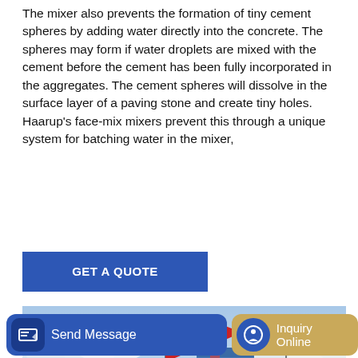The mixer also prevents the formation of tiny cement spheres by adding water directly into the concrete. The spheres may form if water droplets are mixed with the cement before the cement has been fully incorporated in the aggregates. The cement spheres will dissolve in the surface layer of a paving stone and create tiny holes. Haarup's face-mix mixers prevent this through a unique system for batching water in the mixer,
...
GET A QUOTE
[Figure (photo): Industrial concrete batching plant with large blue and white cylindrical silos, red flags on top, set against a cloudy sky background.]
Send Message
Inquiry Online